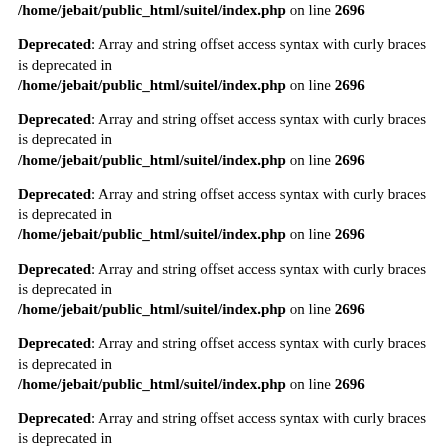/home/jebait/public_html/suitel/index.php on line 2696
Deprecated: Array and string offset access syntax with curly braces is deprecated in /home/jebait/public_html/suitel/index.php on line 2696
Deprecated: Array and string offset access syntax with curly braces is deprecated in /home/jebait/public_html/suitel/index.php on line 2696
Deprecated: Array and string offset access syntax with curly braces is deprecated in /home/jebait/public_html/suitel/index.php on line 2696
Deprecated: Array and string offset access syntax with curly braces is deprecated in /home/jebait/public_html/suitel/index.php on line 2696
Deprecated: Array and string offset access syntax with curly braces is deprecated in /home/jebait/public_html/suitel/index.php on line 2696
Deprecated: Array and string offset access syntax with curly braces is deprecated in /home/jebait/public_html/suitel/index.php on line 2696